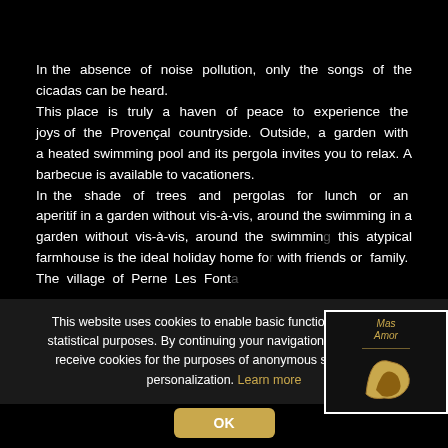In the absence of noise pollution, only the songs of the cicadas can be heard. This place is truly a haven of peace to experience the joys of the Provençal countryside. Outside, a garden with a heated swimming pool and its pergola invites you to relax. A barbecue is available to vacationers. In the shade of trees and pergolas for lunch or an aperitif in a garden without vis-à-vis, around the swimming this atypical farmhouse is the ideal holiday home fo with friends or family. The village of Perne Les Font…
[Figure (logo): Mas Amor logo with stylized map of Provence region in gold/amber color on dark background, with white border]
This website uses cookies to enable basic functionality and for statistical purposes. By continuing your navigation, you agree to receive cookies for the purposes of anonymous statistics and personalization. Learn more